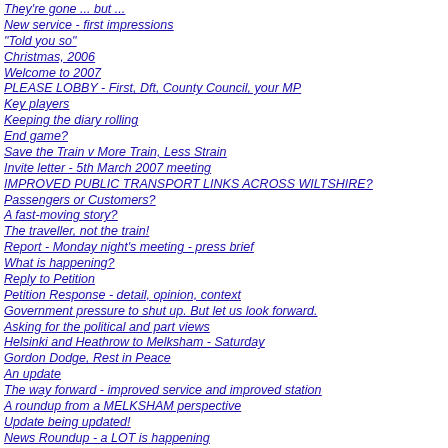They're gone ... but ...
New service - first impressions
"Told you so"
Christmas, 2006
Welcome to 2007
PLEASE LOBBY - First, Dft, County Council, your MP
Key players
Keeping the diary rolling
End game?
Save the Train v More Train, Less Strain
Invite letter - 5th March 2007 meeting
IMPROVED PUBLIC TRANSPORT LINKS ACROSS WILTSHIRE?
Passengers or Customers?
A fast-moving story?
The traveller, not the train!
Report - Monday night's meeting - press brief
What is happening?
Reply to Petition
Petition Response - detail, opinion, context
Government pressure to shut up. But let us look forward.
Asking for the political and part views
Helsinki and Heathrow to Melksham - Saturday
Gordon Dodge, Rest in Peace
An update
The way forward - improved service and improved station
A roundup from a MELKSHAM perspective
Update being updated!
News Roundup - a LOT is happening
Diary notes
We have another hill to climb
Radio - tomorrow morning?
Weymouth, Poor Provisional, and Sunday
A Comparison - travel in the USA by train